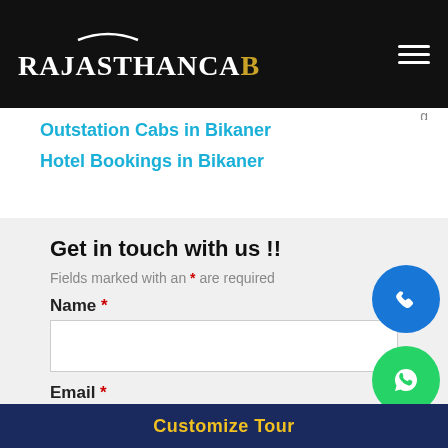RajasthancaB
Outstation Cabs in Bikaner
Hotel Bookings in Bikaner
Get in touch with us !!
Fields marked with an * are required
Name *
Email *
Customize Tour